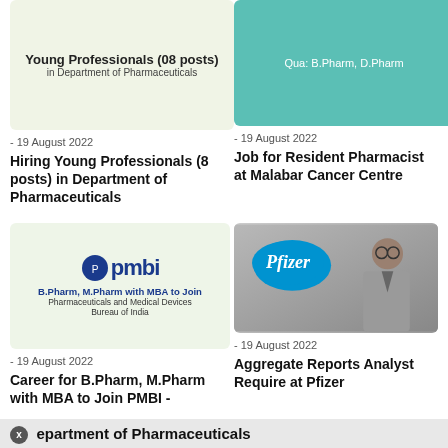[Figure (illustration): Light yellow-green card image with bold text: Young Professionals (08 posts) in Department of Pharmaceuticals]
[Figure (illustration): Teal/green background card image with text: Qua: B.Pharm, D.Pharm]
- 19 August 2022
Hiring Young Professionals (8 posts) in Department of Pharmaceuticals
- 19 August 2022
Job for Resident Pharmacist at Malabar Cancer Centre
[Figure (logo): PMBI logo with text: B.Pharm, M.Pharm with MBA to Join, Pharmaceuticals and Medical Devices Bureau of India]
[Figure (photo): Pfizer logo on blue oval background, man in suit thinking at laptop]
- 19 August 2022
Career for B.Pharm, M.Pharm with MBA to Join PMBI - Department of Pharmaceuticals
- 19 August 2022
Aggregate Reports Analyst Require at Pfizer